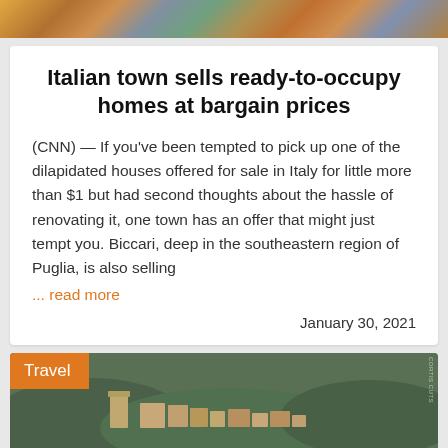[Figure (photo): Colorful Italian town rooftop panoramic photo strip at top of page]
Italian town sells ready-to-occupy homes at bargain prices
(CNN) — If you've been tempted to pick up one of the dilapidated houses offered for sale in Italy for little more than $1 but had second thoughts about the hassle of renovating it, one town has an offer that might just tempt you. Biccari, deep in the southeastern region of Puglia, is also selling
... read more
January 30, 2021
[Figure (photo): Aerial view of Italian hilltop town with tower and buildings surrounded by forest, labeled Travel]